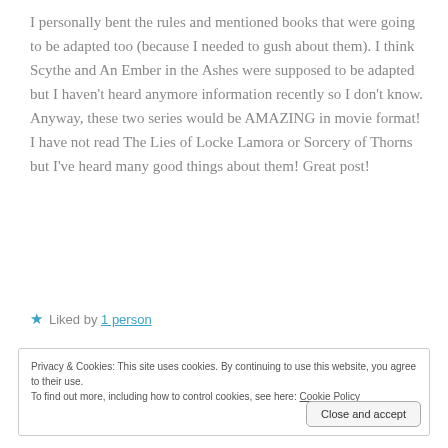I personally bent the rules and mentioned books that were going to be adapted too (because I needed to gush about them). I think Scythe and An Ember in the Ashes were supposed to be adapted but I haven't heard anymore information recently so I don't know. Anyway, these two series would be AMAZING in movie format! I have not read The Lies of Locke Lamora or Sorcery of Thorns but I've heard many good things about them! Great post!
★ Liked by 1 person
Privacy & Cookies: This site uses cookies. By continuing to use this website, you agree to their use. To find out more, including how to control cookies, see here: Cookie Policy
Close and accept